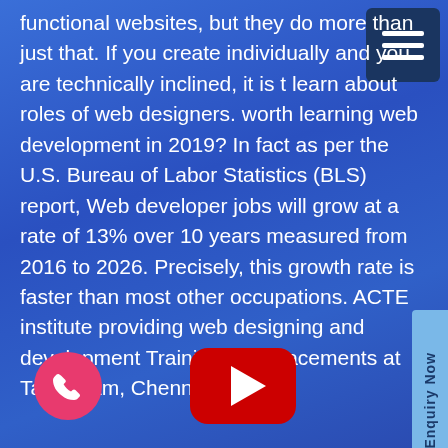functional websites, but they do more than just that. If you create individually and you are technically inclined, it is to learn about roles of web designers. worth learning web development in 2019? In fact as per the U.S. Bureau of Labor Statistics (BLS) report, Web developer jobs will grow at a rate of 13% over 10 years measured from 2016 to 2026. Precisely, this growth rate is faster than most other occupations. ACTE institute providing web designing and development Training with placements at Tambaram, Chennai.
[Figure (other): Hamburger menu icon — three horizontal white bars on a dark navy square button in the top-right corner]
[Figure (other): Light blue vertical 'Enquiry Now' button on the right side of the page]
[Figure (other): Pink/red circular phone call button at bottom left]
[Figure (other): YouTube play button icon (red rounded rectangle with white triangle) at bottom center]